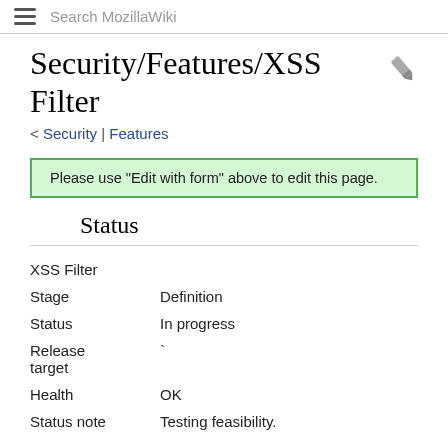Search MozillaWiki
Security/Features/XSS Filter
< Security | Features
Please use "Edit with form" above to edit this page.
Status
| XSS Filter |  |
| Stage | Definition |
| Status | In progress |
| Release target | ` |
| Health | OK |
| Status note | Testing feasibility. |